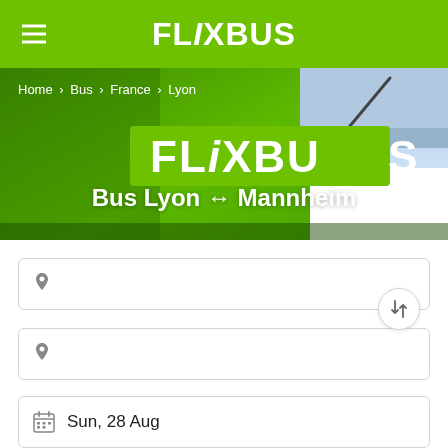FLIXBUS
[Figure (photo): Green FlixBus bus with FlixBus logo visible, shown from front angle with windshield]
Home > Bus > France > Lyon
Bus Lyon ↔ Mannheim
Sun, 28 Aug